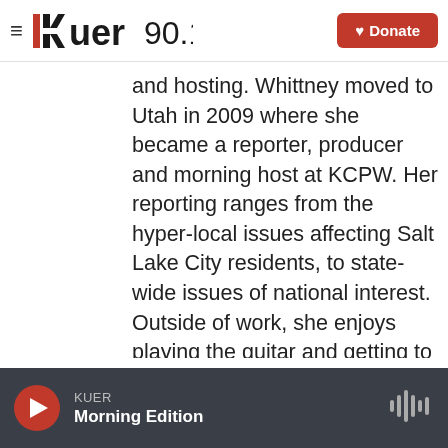KUER 90.1 | Donate
and hosting. Whittney moved to Utah in 2009 where she became a reporter, producer and morning host at KCPW. Her reporting ranges from the hyper-local issues affecting Salt Lake City residents, to state-wide issues of national interest. Outside of work, she enjoys playing the guitar and getting to know the breathtaking landscape of the Mountain West.
See stories by Whittney Evans
KUER Morning Edition